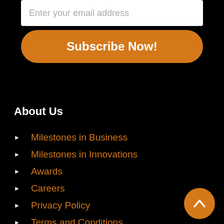Enter your email address
Subscribe Now!
About Us
Milestones in Business
Milestones in Innovations
Awards
Careers
Privacy Policy
Terms and Conditions